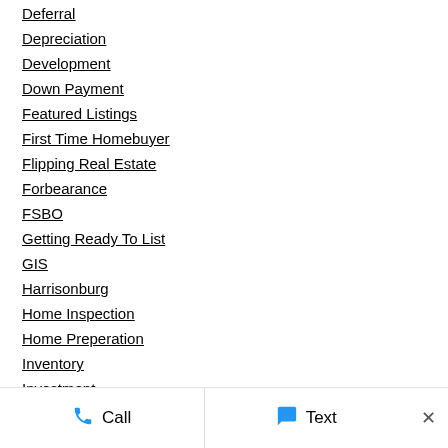Deferral
Depreciation
Development
Down Payment
Featured Listings
First Time Homebuyer
Flipping Real Estate
Forbearance
FSBO
Getting Ready To List
GIS
Harrisonburg
Home Inspection
Home Preperation
Inventory
Investment
Call  Text  ×